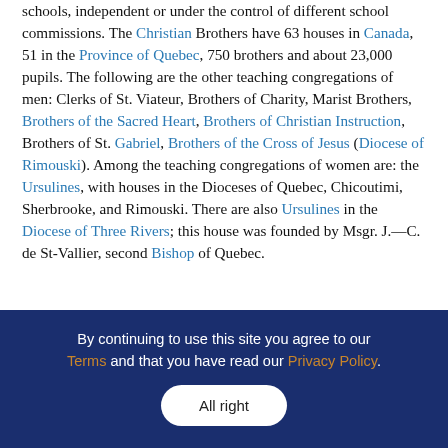schools, independent or under the control of different school commissions. The Christian Brothers have 63 houses in Canada, 51 in the Province of Quebec, 750 brothers and about 23,000 pupils. The following are the other teaching congregations of men: Clerks of St. Viateur, Brothers of Charity, Marist Brothers, Brothers of the Sacred Heart, Brothers of Christian Instruction, Brothers of St. Gabriel, Brothers of the Cross of Jesus (Diocese of Rimouski). Among the teaching congregations of women are: the Ursulines, with houses in the Dioceses of Quebec, Chicoutimi, Sherbrooke, and Rimouski. There are also Ursulines in the Diocese of Three Rivers; this house was founded by Msgr. J.—C. de St-Vallier, second Bishop of Quebec.
By continuing to use this site you agree to our Terms and that you have read our Privacy Policy.
All right